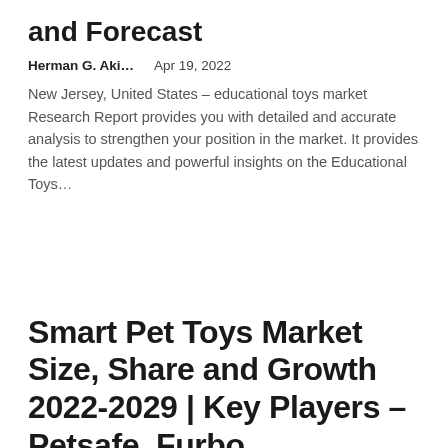and Forecast
Herman G. Aki…    Apr 19, 2022
New Jersey, United States – educational toys market Research Report provides you with detailed and accurate analysis to strengthen your position in the market. It provides the latest updates and powerful insights on the Educational Toys…
Smart Pet Toys Market Size, Share and Growth 2022-2029 | Key Players – Petsafe, Furbo,...